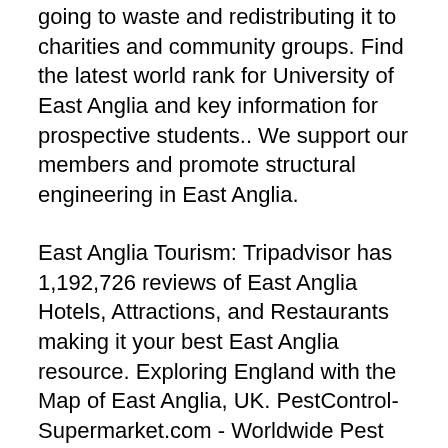going to waste and redistributing it to charities and community groups. Find the latest world rank for University of East Anglia and key information for prospective students.. We support our members and promote structural engineering in East Anglia.
East Anglia Tourism: Tripadvisor has 1,192,726 reviews of East Anglia Hotels, Attractions, and Restaurants making it your best East Anglia resource. Exploring England with the Map of East Anglia, UK. PestControl-Supermarket.com - Worldwide Pest Control Supermarket Price Comparisons South Coast Campsites - Your best guide to camping and caravanning along the beautiful south coast of England - Your best guide to camping and caravanning along the beautiful south coast of England East Anglia If at l...